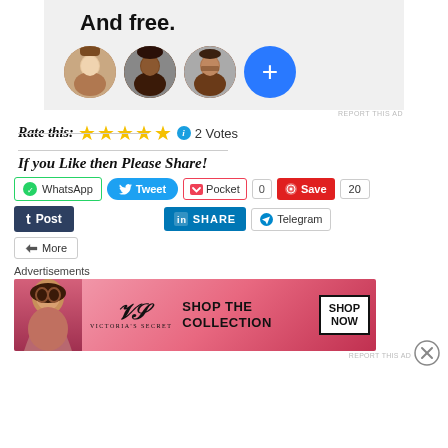[Figure (infographic): Advertisement banner with 'And free.' heading and four circular profile avatars (three person photos and one blue plus button), on a light grey background]
REPORT THIS AD
Rate this: ★★★★★ ℹ 2 Votes
If you Like then Please Share!
[Figure (infographic): Social share buttons: WhatsApp, Tweet, Pocket (0), Save (20), Post (Tumblr), LinkedIn SHARE, Telegram, More]
[Figure (infographic): Close/dismiss circle icon (X in circle) at bottom right]
Advertisements
[Figure (infographic): Victoria's Secret advertisement banner: pink gradient background with woman photo, VS logo, 'SHOP THE COLLECTION' text, and 'SHOP NOW' white box button]
REPORT THIS AD